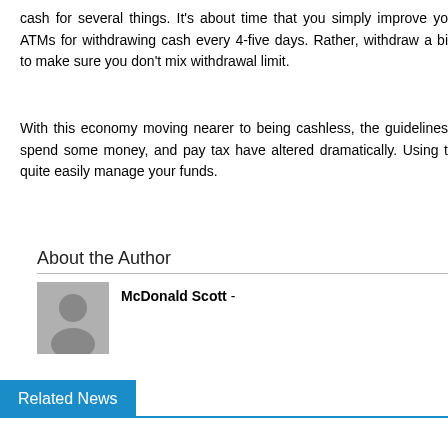cash for several things. It's about time that you simply improve yo ATMs for withdrawing cash every 4-five days. Rather, withdraw a bi to make sure you don't mix withdrawal limit.
With this economy moving nearer to being cashless, the guidelines spend some money, and pay tax have altered dramatically. Using t quite easily manage your funds.
About the Author
McDonald Scott -
Related News